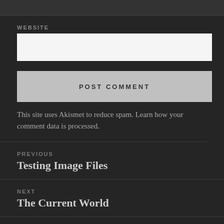WEBSITE
POST COMMENT
This site uses Akismet to reduce spam. Learn how your comment data is processed.
PREVIOUS
Testing Image Files
NEXT
The Current World
Proudly powered by WordPress